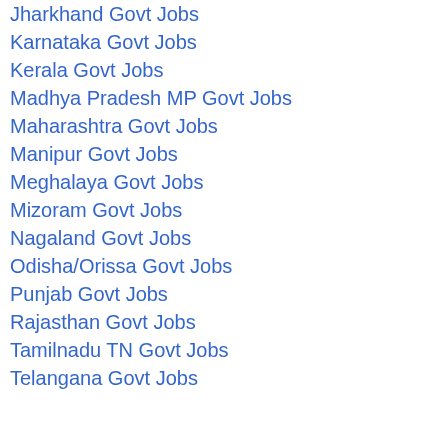Jharkhand Govt Jobs
Karnataka Govt Jobs
Kerala Govt Jobs
Madhya Pradesh MP Govt Jobs
Maharashtra Govt Jobs
Manipur Govt Jobs
Meghalaya Govt Jobs
Mizoram Govt Jobs
Nagaland Govt Jobs
Odisha/Orissa Govt Jobs
Punjab Govt Jobs
Rajasthan Govt Jobs
Tamilnadu TN Govt Jobs
Telangana Govt Jobs